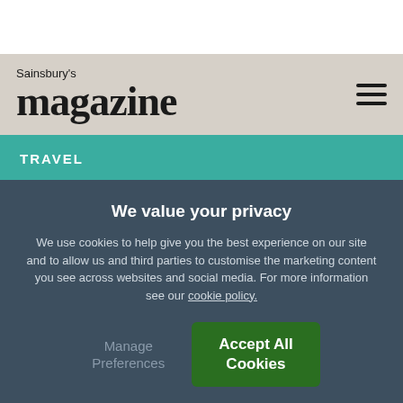Sainsbury's magazine
TRAVEL
Staycation: Dorset
We value your privacy
We use cookies to help give you the best experience on our site and to allow us and third parties to customise the marketing content you see across websites and social media. For more information see our cookie policy.
Manage Preferences
Accept All Cookies